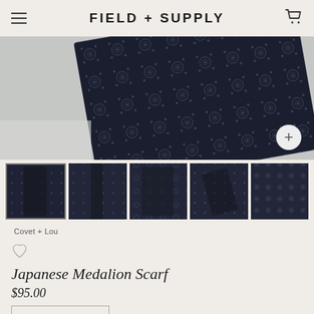FIELD + SUPPLY
[Figure (photo): Main product photo: dark navy Japanese Medalion Scarf folded/draped on light grey background, with zoom (+) button in lower right]
[Figure (photo): Five thumbnail images of the Japanese Medallion Scarf in different folded/draped positions, all showing dark navy fabric with subtle pattern. First thumbnail has selection border.]
Covet + Lou
♡ (wishlist/favorite heart icon)
Japanese Medalion Scarf
$95.00